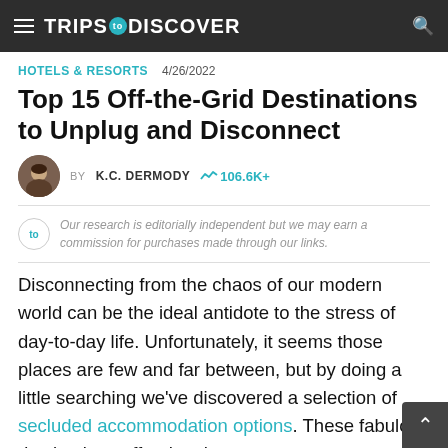TRIPS TO DISCOVER
HOTELS & RESORTS  4/26/2022
Top 15 Off-the-Grid Destinations to Unplug and Disconnect
BY K.C. DERMODY  106.6K+
Our research is editorially independent but we may earn a commission for purchases made through our links.
Disconnecting from the chaos of our modern world can be the ideal antidote to the stress of day-to-day life. Unfortunately, it seems those places are few and far between, but by doing a little searching we've discovered a selection of secluded accommodation options. These fabulous destinations offer the chance for a digital detox by unplugging and giving the brain a